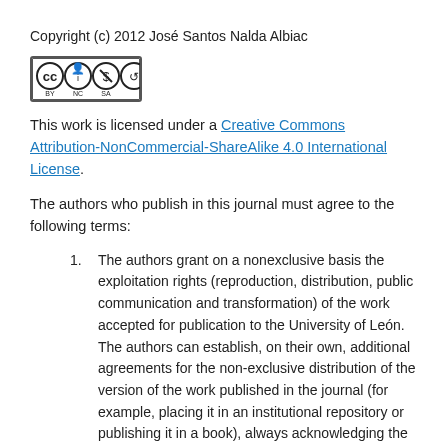Copyright (c) 2012 José Santos Nalda Albiac
[Figure (logo): Creative Commons BY NC SA license badge]
This work is licensed under a Creative Commons Attribution-NonCommercial-ShareAlike 4.0 International License.
The authors who publish in this journal must agree to the following terms:
The authors grant on a nonexclusive basis the exploitation rights (reproduction, distribution, public communication and transformation) of the work accepted for publication to the University of León. The authors can establish, on their own, additional agreements for the non-exclusive distribution of the version of the work published in the journal (for example, placing it in an institutional repository or publishing it in a book), always acknowledging the initial publication in this journal.
This work is licensed under the Creative Commons Attribution-NonCommercial-ShareAlike 4.0